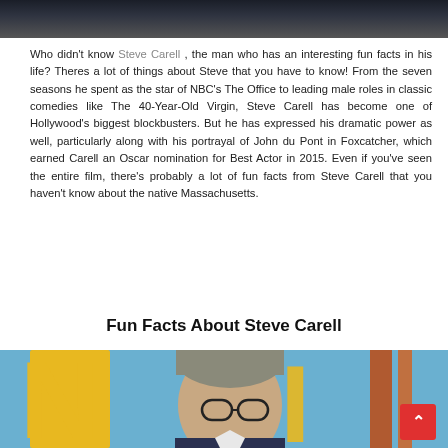[Figure (photo): Top portion of a photo showing two men in suits, partially cropped]
Who didn't know Steve Carell , the man who has an interesting fun facts in his life? Theres a lot of things about Steve that you have to know! From the seven seasons he spent as the star of NBC's The Office to leading male roles in classic comedies like The 40-Year-Old Virgin, Steve Carell has become one of Hollywood's biggest blockbusters. But he has expressed his dramatic power as well, particularly along with his portrayal of John du Pont in Foxcatcher, which earned Carell an Oscar nomination for Best Actor in 2015. Even if you've seen the entire film, there's probably a lot of fun facts from Steve Carell that you haven't know about the native Massachusetts.
Fun Facts About Steve Carell
[Figure (photo): Photo of Steve Carell wearing glasses in front of large letters spelling NIGHT, with a red scroll-to-top button in the lower right corner]